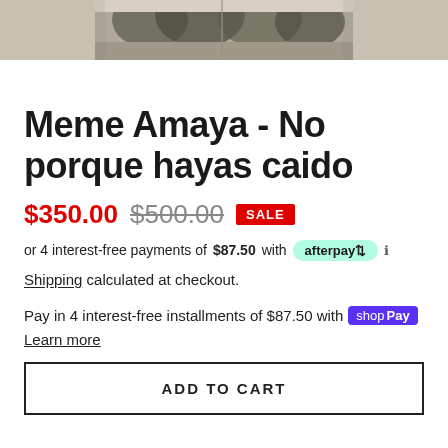[Figure (photo): Cropped top portion of a product image showing a vintage/artistic illustration with trees and landscape, in grayscale/sepia tones]
Meme Amaya - No porque hayas caido
$350.00 $500.00 SALE
or 4 interest-free payments of $87.50 with afterpay
Shipping calculated at checkout.
Pay in 4 interest-free installments of $87.50 with shop Pay
Learn more
ADD TO CART